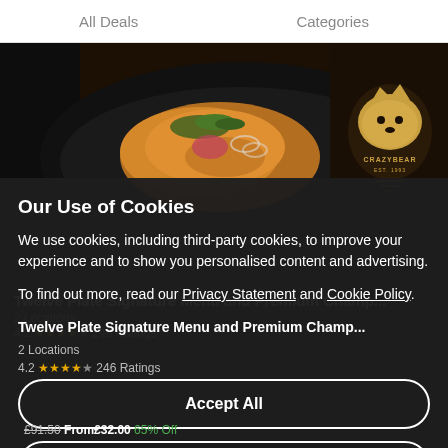All Deals    Categories
[Figure (photo): Food photo showing an Asian-style dish on a dark plate with greens and the Crazy Bear restaurant logo on the right]
Our Use of Cookies
We use cookies, including third-party cookies, to improve your experience and to show you personalised content and advertising.
To find out more, read our Privacy Statement and Cookie Policy.
Accept All
Reject All
My Options
Twelve Plate Signature Menu and Premium Champ...
2 Locations
4.2 ★★★★☆  246 Ratings
£91.50  From£32.00  65% Off
Twelve Plate Signature Lunch and a glass of Premium Champagne for One Person